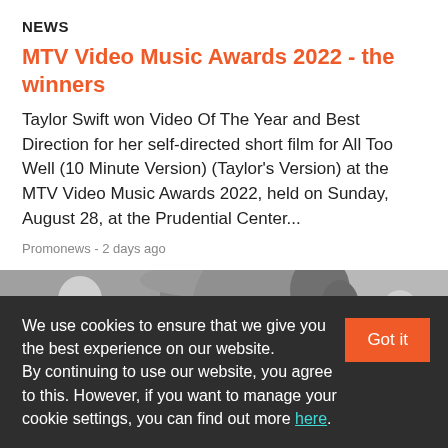NEWS
MTV Video Music Awards 2022 - the winners
Taylor Swift won Video Of The Year and Best Direction for her self-directed short film for All Too Well (10 Minute Version) (Taylor's Version) at the MTV Video Music Awards 2022, held on Sunday, August 28, at the Prudential Center...
Promonews - 2 days ago
[Figure (photo): Black and white photo showing a close-up of a person's face, appearing to be a woman with curly hair, with other figures visible in the background under an umbrella.]
We use cookies to ensure that we give you the best experience on our website. By continuing to use our website, you agree to this. However, if you want to manage your cookie settings, you can find out more here.